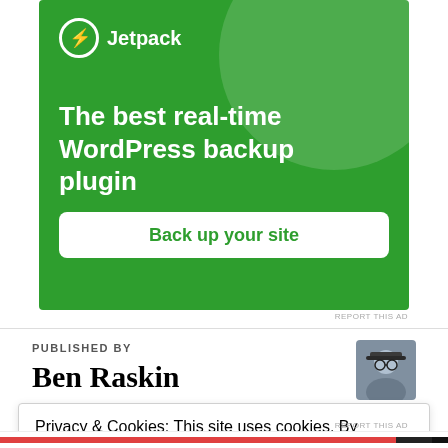[Figure (infographic): Jetpack advertisement banner on green background with logo, headline text 'The best real-time WordPress backup plugin' and a white button 'Back up your site']
REPORT THIS AD
PUBLISHED BY
Ben Raskin
[Figure (photo): Author photo of Ben Raskin - a man with glasses and a hat]
Privacy & Cookies: This site uses cookies. By continuing to use this website, you agree to their use.
To find out more, including how to control cookies, see here: Cookie Policy
Close and accept
REPORT THIS AD